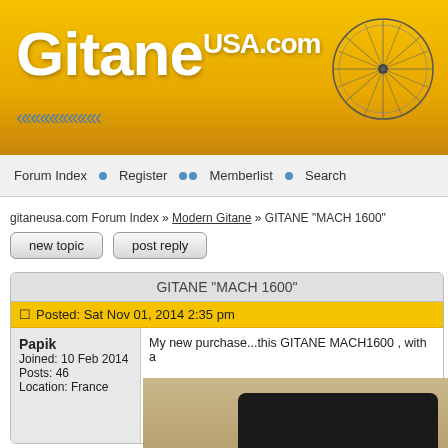GitaneUSA.com
Forum Index • Register •• Memberlist • Search
gitaneusa.com Forum Index » Modern Gitane » GITANE "MACH 1600"
new topic   post reply
GITANE "MACH 1600"
Posted: Sat Nov 01, 2014 2:35 pm
Papik
Joined: 10 Feb 2014
Posts: 46
Location: France
My new purchase...this GITANE MACH1600 , with a

I have not seen this model in the catalogs , I think it the year model .

the weight is 21 lbs .
[Figure (photo): Partial photo of a bicycle saddle/seat in dark color against a beige/tan background]